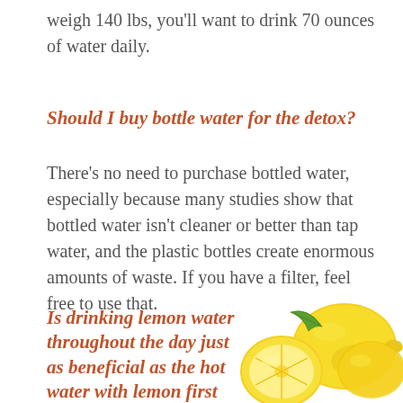weigh 140 lbs, you'll want to drink 70 ounces of water daily.
Should I buy bottle water for the detox?
There's no need to purchase bottled water, especially because many studies show that bottled water isn't cleaner or better than tap water, and the plastic bottles create enormous amounts of waste. If you have a filter, feel free to use that.
Is drinking lemon water throughout the day just as beneficial as the hot water with lemon first
[Figure (photo): Photo of lemons, one sliced in half, with a green leaf, on a white background]